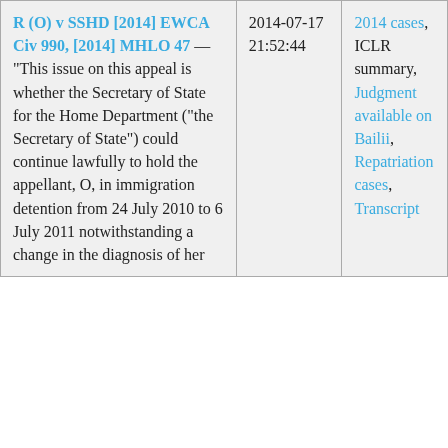| R (O) v SSHD [2014] EWCA Civ 990, [2014] MHLO 47 — "This issue on this appeal is whether the Secretary of State for the Home Department ("the Secretary of State") could continue lawfully to hold the appellant, O, in immigration detention from 24 July 2010 to 6 July 2011 notwithstanding a change in the diagnosis of her | 2014-07-17 21:52:44 | 2014 cases, ICLR summary, Judgment available on Bailii, Repatriation cases, Transcript |